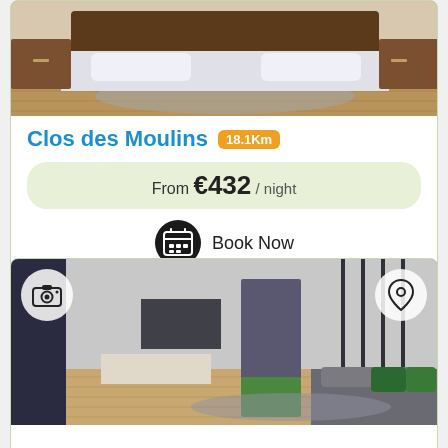[Figure (photo): Interior bedroom photo showing wooden furniture, bed with grey bedding, and hardwood floor — top portion clipped]
Clos des Moulins 18.1Km
From €432 / night
Book Now
[Figure (photo): Interior living room photo showing modern apartment with sofa, green table, hardwood floor, and glass partition wall. Camera and location pin overlay icons visible.]
Appart Saint Cyprien + Parking